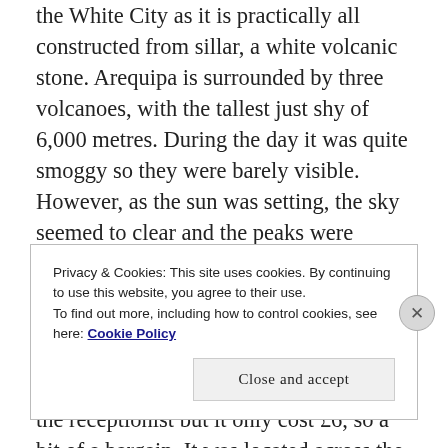the White City as it is practically all constructed from sillar, a white volcanic stone. Arequipa is surrounded by three volcanoes, with the tallest just shy of 6,000 metres. During the day it was quite smoggy so they were barely visible. However, as the sun was setting, the sky seemed to clear and the peaks were Illuminated with a soft, pink hue. We didn't do too much in Arequipa other than explore the old town and nearby market as I was still recovering. Dave got a hair cut at a really fancy spa recommended by the receptionist but it only cost £6, so a bit of a bargain. It was located across the river and gave us a chance to wander round a different area
Privacy & Cookies: This site uses cookies. By continuing to use this website, you agree to their use.
To find out more, including how to control cookies, see here: Cookie Policy